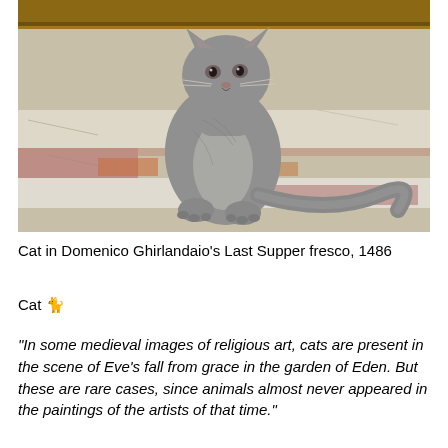[Figure (illustration): A medieval fresco detail showing a gray cat sitting on a striped floor (white, mauve/pink, and terracotta colored stripes). The cat is depicted in a realistic but stylized manner, viewed from a three-quarter angle, with its tail curled to the right. The background shows a wooden architectural element at the top. This is from Domenico Ghirlandaio's Last Supper fresco, 1486.]
Cat in Domenico Ghirlandaio's Last Supper fresco, 1486
Cat 🐈
“In some medieval images of religious art, cats are present in the scene of Eve’s fall from grace in the garden of Eden. But these are rare cases, since animals almost never appeared in the paintings of the artists of that time.”